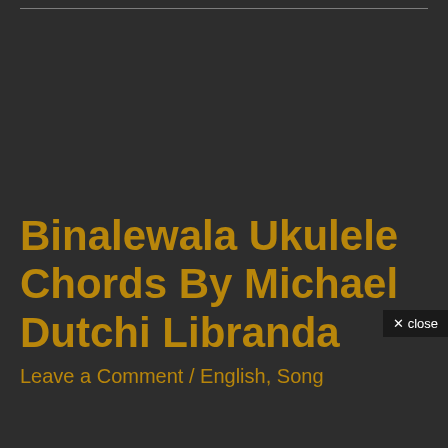Binalewala Ukulele Chords By Michael Dutchi Libranda
Leave a Comment / English, Song